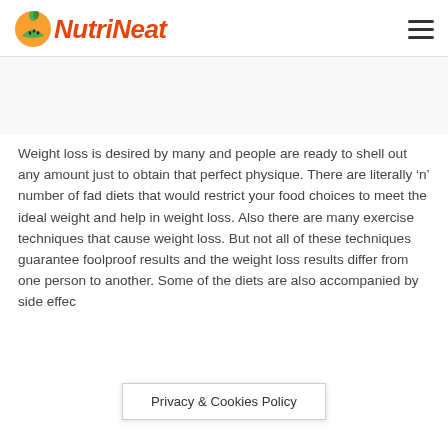NutriNeat
Weight loss is desired by many and people are ready to shell out any amount just to obtain that perfect physique. There are literally ‘n’ number of fad diets that would restrict your food choices to meet the ideal weight and help in weight loss. Also there are many exercise techniques that cause weight loss. But not all of these techniques guarantee foolproof results and the weight loss results differ from one person to another. Some of the diets are also accompanied by side effects as many side effects and the...is often s...
Privacy & Cookies Policy